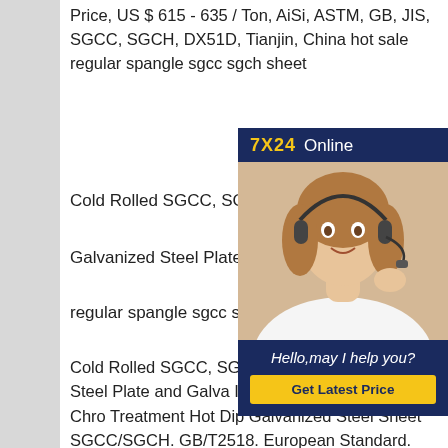Price, US $ 615 - 635 / Ton, AiSi, ASTM, GB, JIS, SGCC, SGCH, DX51D, Tianjin, China hot sale regular spangle sgcc sgch sheet
Cold Rolled SGCC, SGCH, DX5
Galvanized Steel Plate and hot sa
regular spangle sgcc sgch sheet
[Figure (photo): Customer service representative wearing a headset, smiling, with a chat widget overlay showing '7X24 Online' header, a photo of the agent, 'Hello,may I help you?' text, and a 'Get Latest Price' button on dark navy background.]
Cold Rolled SGCC, SGCH, DX51 Galvanized Steel Plate and Galva Iron Sheet Price, US $ 615 Chrom Treatment Hot Dip Galvanized Steel Sheet SGCC/SGCH. GB/T2518. European Standard. ASTM A792. JIS G3321. JIS G3317 . GRADE . CGCC. CGCH. CGCD1-CGCD3. hot sale regular spangle sgcc sgch sheet